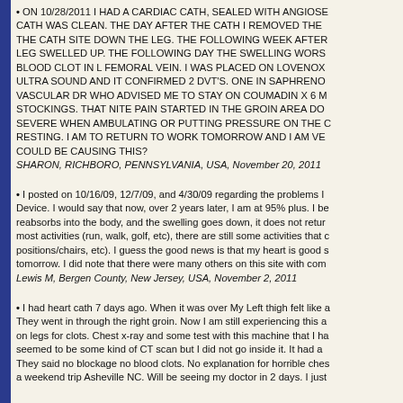• ON 10/28/2011 I HAD A CARDIAC CATH, SEALED WITH ANGIOSE... CATH WAS CLEAN. THE DAY AFTER THE CATH I REMOVED THE ... THE CATH SITE DOWN THE LEG. THE FOLLOWING WEEK AFTER... LEG SWELLED UP. THE FOLLOWING DAY THE SWELLING WORS... BLOOD CLOT IN L FEMORAL VEIN. I WAS PLACED ON LOVENOX... ULTRA SOUND AND IT CONFIRMED 2 DVT'S. ONE IN SAPHRENO... VASCULAR DR WHO ADVISED ME TO STAY ON COUMADIN X 6 M... STOCKINGS. THAT NITE PAIN STARTED IN THE GROIN AREA DO... SEVERE WHEN AMBULATING OR PUTTING PRESSURE ON THE ... RESTING. I AM TO RETURN TO WORK TOMORROW AND I AM VE... COULD BE CAUSING THIS? SHARON, RICHBORO, PENNSYLVANIA, USA, November 20, 2011
• I posted on 10/16/09, 12/7/09, and 4/30/09 regarding the problems I... Device. I would say that now, over 2 years later, I am at 95% plus. I be... reabsorbs into the body, and the swelling goes down, it does not retur... most activities (run, walk, golf, etc), there are still some activities that ... positions/chairs, etc). I guess the good news is that my heart is good s... tomorrow. I did note that there were many others on this site with com... Lewis M, Bergen County, New Jersey, USA, November 2, 2011
• I had heart cath 7 days ago. When it was over My Left thigh felt like ... They went in through the right groin. Now I am still experiencing this a... on legs for clots. Chest x-ray and some test with this machine that I ha... seemed to be some kind of CT scan but I did not go inside it. It had a... They said no blockage no blood clots. No explanation for horrible ches... a weekend trip Asheville NC. Will be seeing my doctor in 2 days. I just...